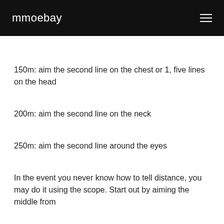mmoebay
150m: aim the second line on the chest or 1, five lines on the head
200m: aim the second line on the neck
250m: aim the second line around the eyes
In the event you never know how to tell distance, you may do it using the scope. Start out by aiming the middle from